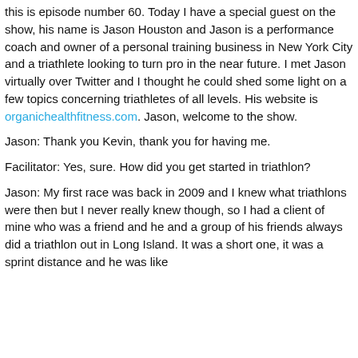this is episode number 60. Today I have a special guest on the show, his name is Jason Houston and Jason is a performance coach and owner of a personal training business in New York City and a triathlete looking to turn pro in the near future. I met Jason virtually over Twitter and I thought he could shed some light on a few topics concerning triathletes of all levels. His website is organichealthfitness.com. Jason, welcome to the show.
Jason: Thank you Kevin, thank you for having me.
Facilitator: Yes, sure. How did you get started in triathlon?
Jason: My first race was back in 2009 and I knew what triathlons were then but I never really knew though, so I had a client of mine who was a friend and he and a group of his friends always did a triathlon out in Long Island. It was a short one, it was a sprint distance and he was like